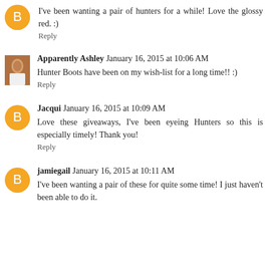I've been wanting a pair of hunters for a while! Love the glossy red. :)
Reply
Apparently Ashley  January 16, 2015 at 10:06 AM
Hunter Boots have been on my wish-list for a long time!! :)
Reply
Jacqui  January 16, 2015 at 10:09 AM
Love these giveaways, I've been eyeing Hunters so this is especially timely! Thank you!
Reply
jamiegail  January 16, 2015 at 10:11 AM
I've been wanting a pair of these for quite some time! I just haven't been able to do it.